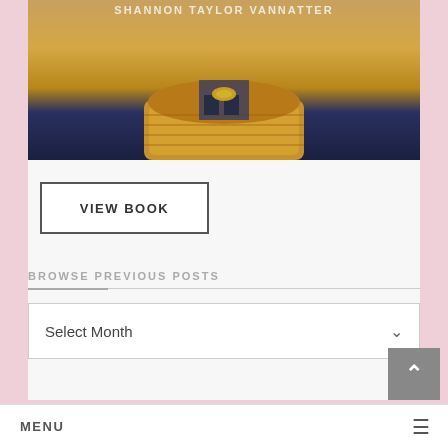[Figure (photo): Book cover photo showing a cowboy near a hay bale in a field, with the author name Shannon Taylor Vannatter at the top]
VIEW BOOK
BROWSE PREVIOUS POSTS
Select Month
MENU